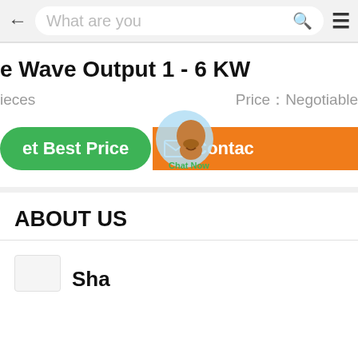What are you looking for (search bar)
e Wave Output 1 - 6 KW
ieces   Price：Negotiable
et Best Price   Contact
ABOUT US